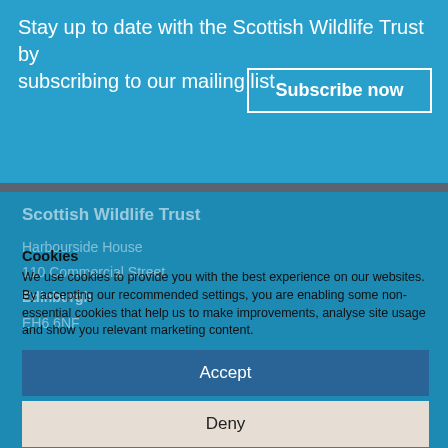Stay up to date with the Scottish Wildlife Trust by subscribing to our mailing list
Subscribe now
Scottish Wildlife Trust
Cookies
We use cookies to provide you with the best experience on our websites. By accepting our recommended settings, you are enabling some non-essential cookies that help us to make improvements, analyse site usage and show you relevant marketing content.
Accept
Deny
Preferences
Cookie Policy
Privacy notice
BACK TO TOP